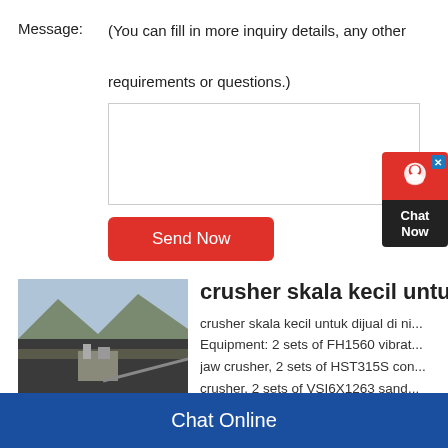Message:	(You can fill in more inquiry details, any other requirements or questions.)
[Figure (screenshot): Empty textarea input field for message]
Send Now
[Figure (photo): Aerial view of a mining/crushing facility with mountains in the background]
crusher skala kecil untu
crusher skala kecil untuk dijual di ni... Equipment: 2 sets of FH1560 vibrat... jaw crusher, 2 sets of HST315S con... crusher, 2 sets of VSI6X1263 sand...
Chat Online